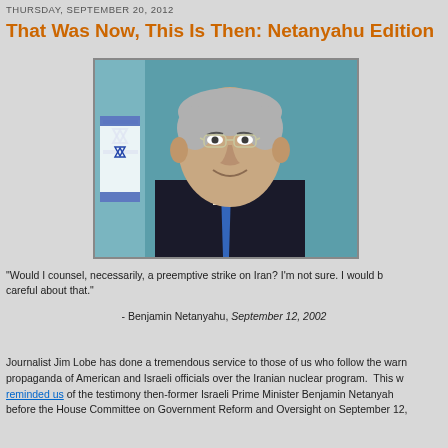THURSDAY, SEPTEMBER 20, 2012
That Was Now, This Is Then: Netanyahu Edition
[Figure (photo): Photograph of Benjamin Netanyahu in a dark suit and blue tie, with Israeli flag in background, against a teal/blue backdrop]
"Would I counsel, necessarily, a preemptive strike on Iran? I'm not sure. I would be careful about that."
- Benjamin Netanyahu, September 12, 2002
Journalist Jim Lobe has done a tremendous service to those of us who follow the warn propaganda of American and Israeli officials over the Iranian nuclear program.  This w reminded us of the testimony then-former Israeli Prime Minister Benjamin Netanyah before the House Committee on Government Reform and Oversight on September 12...